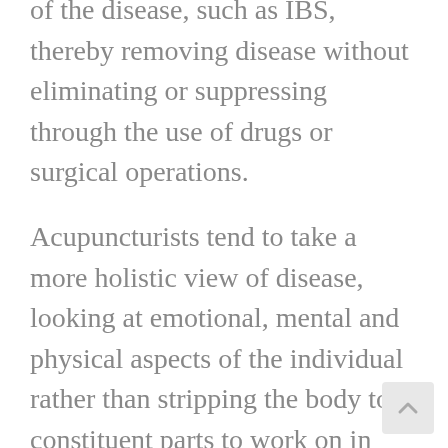of the disease, such as IBS, thereby removing disease without eliminating or suppressing through the use of drugs or surgical operations.
Acupuncturists tend to take a more holistic view of disease, looking at emotional, mental and physical aspects of the individual rather than stripping the body to constituent parts to work on in isolation. The Nei Jing expands on this theory further "the universe stemmed from one universal yuan qi, which meant that an event in any point of the universe resonated with phenomena of ‘like qi’ elsewhere." That is to say, we are all